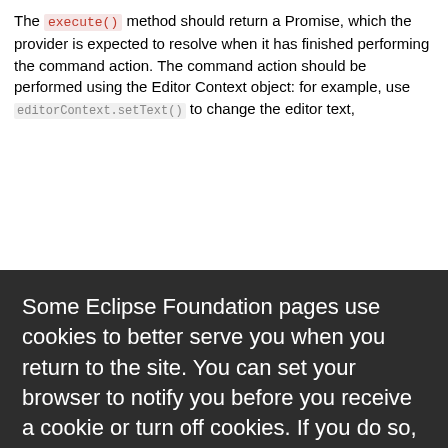The execute() method should return a Promise, which the provider is expected to resolve when it has finished performing the command action. The command action should be performed using the Editor Context object: for example, use editorContext.setText() to change the editor text,
Some Eclipse Foundation pages use cookies to better serve you when you return to the site. You can set your browser to notify you before you receive a cookie or turn off cookies. If you do so, however, some areas of some sites may not function properly. To read Eclipse Foundation Privacy Policy click here.
The object must either have a text property or a